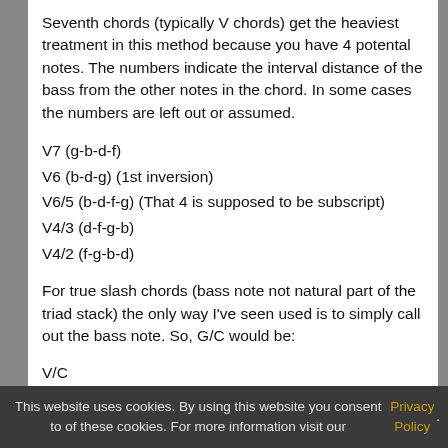Seventh chords (typically V chords) get the heaviest treatment in this method because you have 4 potental notes. The numbers indicate the interval distance of the bass from the other notes in the chord. In some cases the numbers are left out or assumed.
V7 (g-b-d-f)
V6 (b-d-g) (1st inversion)
V6/5 (b-d-f-g) (That 4 is supposed to be subscript)
V4/3 (d-f-g-b)
V4/2 (f-g-b-d)
For true slash chords (bass note not natural part of the triad stack) the only way I've seen used is to simply call out the bass note. So, G/C would be:
V/C
But this is very rare in my experience. I think you could simply alter the number! So, a G with a C in the bass, G/C, could be:
This website uses cookies. By using this website you consent to of these cookies. For more information visit our Privacy Policy.